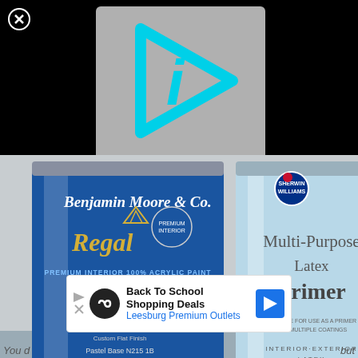[Figure (screenshot): Black background with a gray rounded rectangle video placeholder showing a cyan/teal play button icon (triangle with letter i inside). A white circled X close button is in the top-left corner.]
[Figure (photo): Photo of two paint cans on a surface. Left can is Benjamin Moore & Co. Regal Premium Interior 100% Acrylic Paint Flat Finish Pastel Base N215 1B. Right can is Sherwin-Williams Multi-Purpose Latex Primer Interior/Exterior Latex.]
[Figure (screenshot): Advertisement banner: Back To School Shopping Deals - Leesburg Premium Outlets. Shows play/ad icons on left and a blue navigation arrow icon on right.]
You d... but